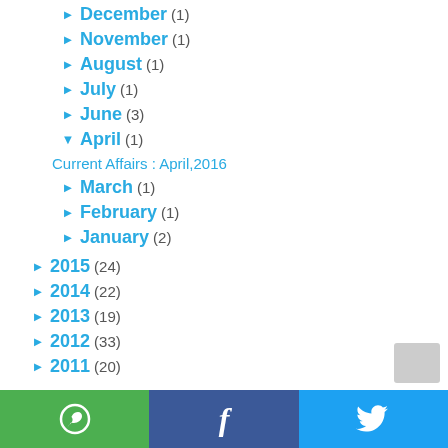► December (1)
► November (1)
► August (1)
► July (1)
► June (3)
▼ April (1)
Current Affairs : April,2016
► March (1)
► February (1)
► January (2)
► 2015 (24)
► 2014 (22)
► 2013 (19)
► 2012 (33)
► 2011 (20)